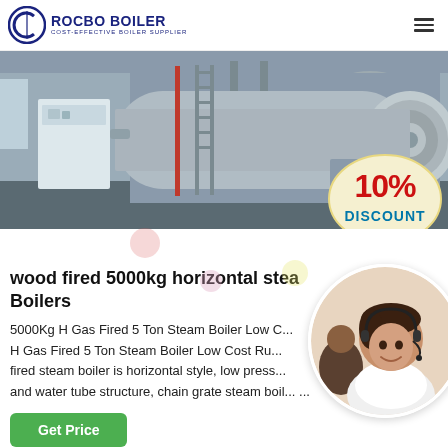[Figure (logo): Rocbo Boiler logo with circular C icon and text 'ROCBO BOILER / COST-EFFECTIVE BOILER SUPPLIER']
[Figure (photo): Industrial boiler room with large horizontal steam boilers, showing cylindrical boiler bodies, pipes, ladders, and industrial facility interior]
[Figure (infographic): 10% DISCOUNT badge overlaid on the boiler image, styled with red bold '10%' text and teal 'DISCOUNT' on cream/beige banner shape]
wood fired 5000kg horizontal steam Boilers
5000Kg H Gas Fired 5 Ton Steam Boiler Low Cost... H Gas Fired 5 Ton Steam Boiler Low Cost Ru... fired steam boiler is horizontal style, low press... and water tube structure, chain grate steam boil... ...
[Figure (photo): Customer service representative (woman with headset smiling) with another agent visible in background, circular cropped overlay on right side of page]
Get Price